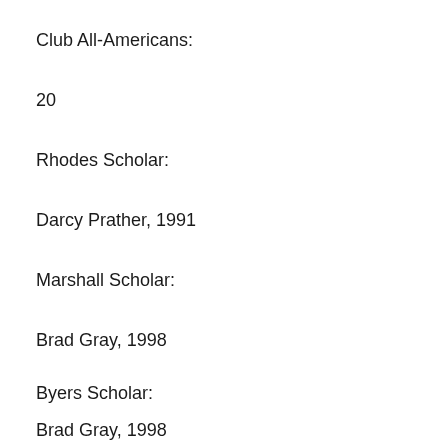Club All-Americans:
20
Rhodes Scholar:
Darcy Prather, 1991
Marshall Scholar:
Brad Gray, 1998
Byers Scholar:
Brad Gray, 1998